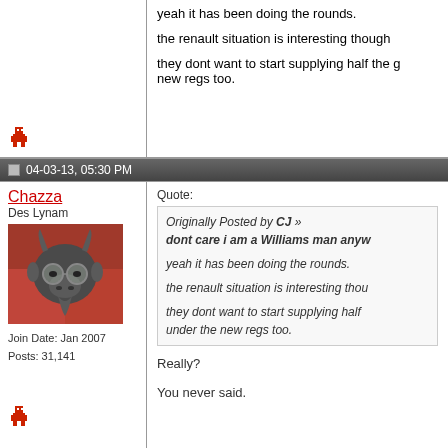yeah it has been doing the rounds.

the renault situation is interesting though

they dont want to start supplying half the g new regs too.
04-03-13, 05:30 PM
Chazza
Des Lynam
Join Date: Jan 2007
Posts: 31,141
Quote:
Originally Posted by CJ
dont care i am a Williams man anyw

yeah it has been doing the rounds.

the renault situation is interesting thou

they dont want to start supplying half under the new regs too.
Really?

You never said.